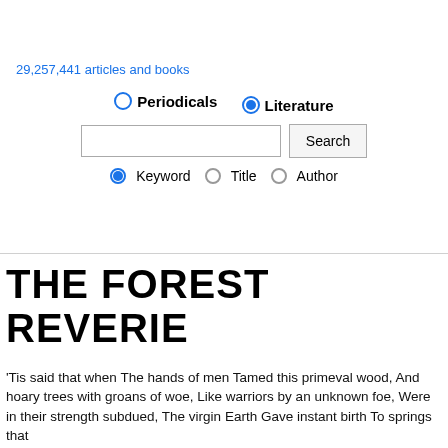29,257,441 articles and books
[Figure (screenshot): Search interface with radio buttons for Periodicals and Literature (Literature selected), a text input box, Search button, and radio buttons for Keyword (selected), Title, Author]
THE FOREST REVERIE
'Tis said that when The hands of men Tamed this primeval wood, And hoary trees with groans of woe, Like warriors by an unknown foe, Were in their strength subdued, The virgin Earth Gave instant birth To springs that